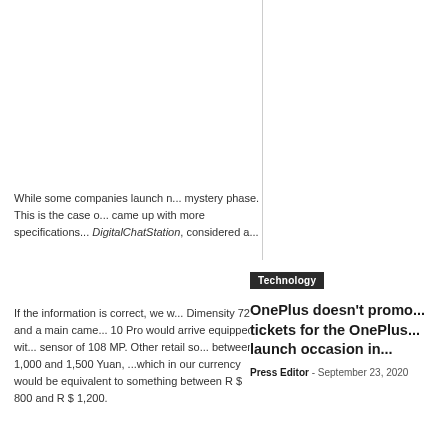While some companies launch m... mystery phase. This is the case o... came up with more specifications... DigitalChatStation, considered a...
If the information is correct, we w... Dimensity 720 and a main came... 10 Pro would arrive equipped wit... sensor of 108 MP. Other retail so... between 1,000 and 1,500 Yuan, ...which in our currency would be equivalent to something between R $ 800 and R $ 1,200.
Technology
OnePlus doesn't promo... tickets for the OnePlus... launch occasion in...
Press Editor - September 23, 2020